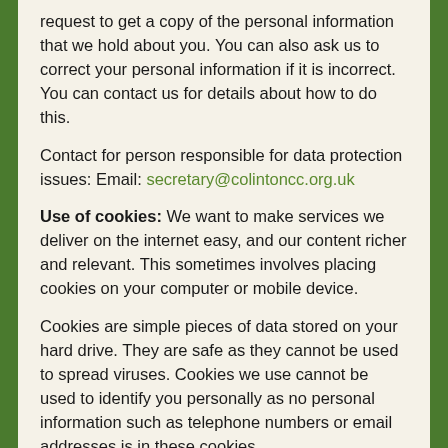request to get a copy of the personal information that we hold about you. You can also ask us to correct your personal information if it is incorrect. You can contact us for details about how to do this.
Contact for person responsible for data protection issues: Email: secretary@colintoncc.org.uk
Use of cookies: We want to make services we deliver on the internet easy, and our content richer and relevant. This sometimes involves placing cookies on your computer or mobile device.
Cookies are simple pieces of data stored on your hard drive. They are safe as they cannot be used to spread viruses. Cookies we use cannot be used to identify you personally as no personal information such as telephone numbers or email addresses is in these cookies.
Links to other websites: This Privacy Notice only covers the Colinton Community Council website. We do not give any guarantees about the accuracy of the content or the security of any other website that you may access through a link on our website. If you visit other websites you should read their Privacy Notice covering the use of personal